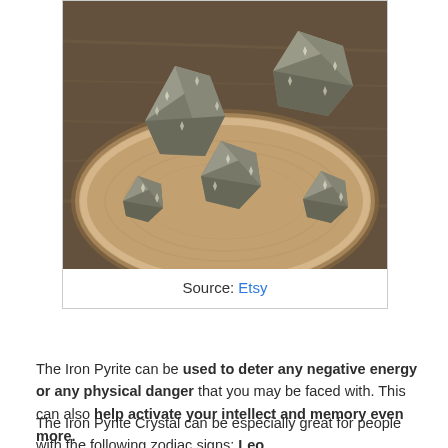[Figure (photo): Pyrite (fool's gold) mineral specimens placed on a round wooden slice/disk, photographed on a wooden table surface. Multiple glittery metallic grey-silver crystal clusters of various sizes are arranged on the light-colored wood round.]
Source: Etsy
The Iron Pyrite can be used to deter any negative energy or any physical danger that you may be faced with. This can also help activate your intellect and memory even more.
The Iron Pyrite Crystal can be especially great for people with the following zodiac signs: Leo